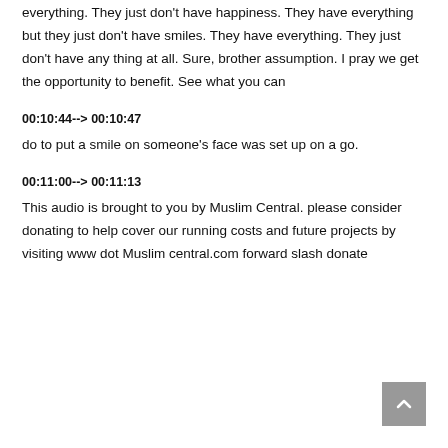everything. They just don't have happiness. They have everything but they just don't have smiles. They have everything. They just don't have any thing at all. Sure, brother assumption. I pray we get the opportunity to benefit. See what you can
00:10:44--> 00:10:47
do to put a smile on someone's face was set up on a go.
00:11:00--> 00:11:13
This audio is brought to you by Muslim Central. please consider donating to help cover our running costs and future projects by visiting www dot Muslim central.com forward slash donate